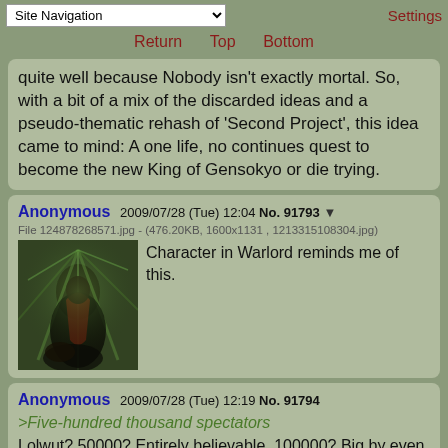Site Navigation | Settings
Return   Top   Bottom
quite well because Nobody isn't exactly mortal. So, with a bit of a mix of the discarded ideas and a pseudo-thematic rehash of 'Second Project', this idea came to mind: A one life, no continues quest to become the new King of Gensokyo or die trying.
Anonymous  2009/07/28 (Tue) 12:04  No. 91793 ▼
File 124878268571.jpg - (476.20KB, 1600x1131 , 1213315108304.jpg)
Character in Warlord reminds me of this.
Anonymous  2009/07/28 (Tue) 12:19  No. 91794
>Five-hundred thousand spectators
Lolwut? 50000? Entirely believable. 100000? Big by even modern standards, but still believable. 150000? Biggest ones that exist now are IIRC in the 120-130k